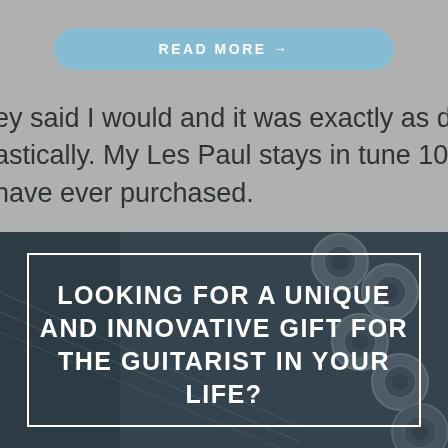READ MORE →
ey said I would and it was exactly as de... astically. My Les Paul stays in tune 1000... have ever purchased.
[Figure (photo): Close-up dark-tinted photo of guitar tuning pegs/machine heads on a guitar headstock]
LOOKING FOR A UNIQUE AND INNOVATIVE GIFT FOR THE GUITARIST IN YOUR LIFE?